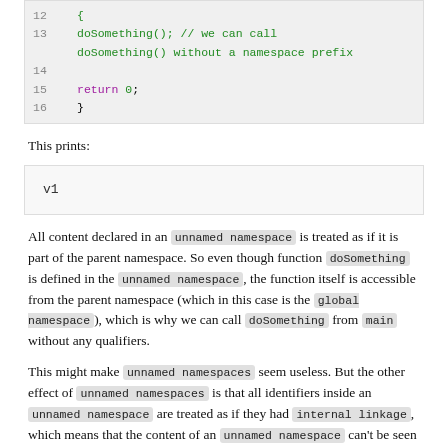[Figure (screenshot): Code block lines 12-16 showing C++ unnamed namespace example with doSomething() call and return 0]
This prints:
[Figure (screenshot): Output block showing 'v1']
All content declared in an unnamed namespace is treated as if it is part of the parent namespace. So even though function doSomething is defined in the unnamed namespace, the function itself is accessible from the parent namespace (which in this case is the global namespace), which is why we can call doSomething from main without any qualifiers.
This might make unnamed namespaces seem useless. But the other effect of unnamed namespaces is that all identifiers inside an unnamed namespace are treated as if they had internal linkage, which means that the content of an unnamed namespace can't be seen outside of the file in which the unnamed namespace is